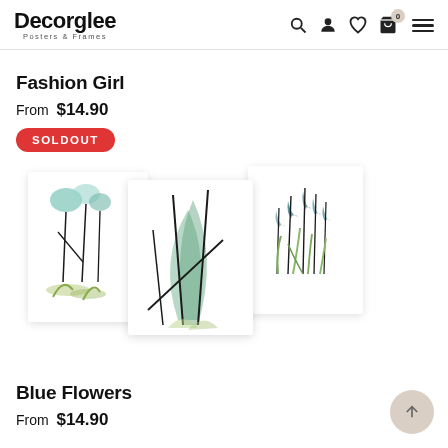Decorglee Posters & Frames
Fashion Girl
From $14.90
SOLDOUT
[Figure (photo): Three decorative botanical art posters showing x-ray style flower/plant illustrations in teal and green tones on white backgrounds, arranged in a slightly overlapping fan layout.]
Blue Flowers
From $14.90